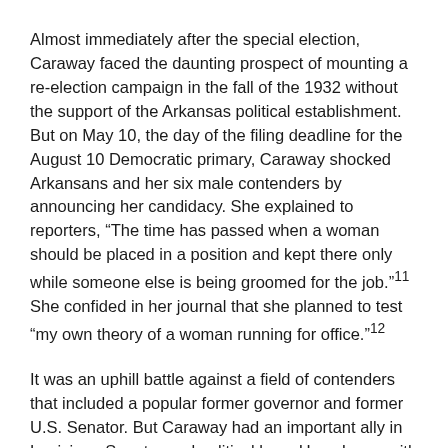Almost immediately after the special election, Caraway faced the daunting prospect of mounting a re-election campaign in the fall of the 1932 without the support of the Arkansas political establishment. But on May 10, the day of the filing deadline for the August 10 Democratic primary, Caraway shocked Arkansans and her six male contenders by announcing her candidacy. She explained to reporters, “The time has passed when a woman should be placed in a position and kept there only while someone else is being groomed for the job.”¹¹  She confided in her journal that she planned to test “my own theory of a woman running for office.”¹²
It was an uphill battle against a field of contenders that included a popular former governor and former U.S. Senator. But Caraway had an important ally in Louisiana Senator and political boss Huey Long, with whom Thaddeus Caraway had often allied and whose legislative proposals Hattie Caraway supported. Long had presidential ambitions and wanted to prove his popularity outside his home state by campaigning in the state of his chief rival, Caraway’s Arkansas colleague, Senate Minority Leader Joseph T… Robinson. On August 1, nine days before the election, the…